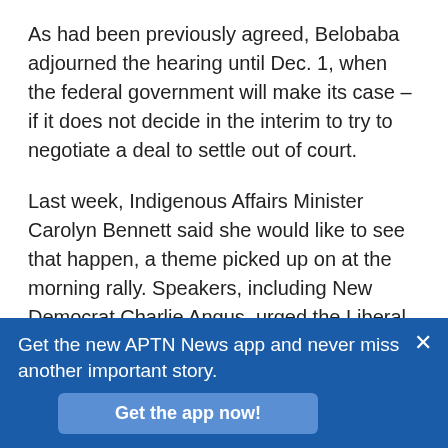As had been previously agreed, Belobaba adjourned the hearing until Dec. 1, when the federal government will make its case – if it does not decide in the interim to try to negotiate a deal to settle out of court.
Last week, Indigenous Affairs Minister Carolyn Bennett said she would like to see that happen, a theme picked up on at the morning rally. Speakers, including New Democrat Charlie Angus, urged the Liberal government of Justin Trudeau to be on the “right side of history” and make good on his promise of a new era in Canadian-Indigenous relations.
Get the new APTN News app and never miss another important story.
Get the app now!